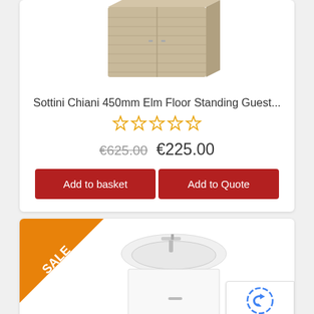[Figure (photo): Sottini Chiani 450mm Elm Floor Standing Guest bathroom vanity unit product image - top portion visible]
Sottini Chiani 450mm Elm Floor Standing Guest...
[Figure (other): 5 empty/outline star rating icons in yellow/orange]
€625.00  €225.00
Add to basket   Add to Quote
[Figure (photo): Sale ribbon in orange triangle on top-left corner of second product card, and a white floor-standing bathroom vanity unit with basin and tap, product image partially visible]
[Figure (other): Google reCAPTCHA badge with Privacy and Terms links]